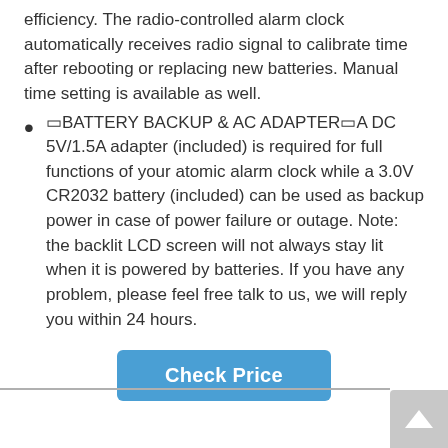efficiency. The radio-controlled alarm clock automatically receives radio signal to calibrate time after rebooting or replacing new batteries. Manual time setting is available as well.
🔲BATTERY BACKUP & AC ADAPTER🔲A DC 5V/1.5A adapter (included) is required for full functions of your atomic alarm clock while a 3.0V CR2032 battery (included) can be used as backup power in case of power failure or outage. Note: the backlit LCD screen will not always stay lit when it is powered by batteries. If you have any problem, please feel free talk to us, we will reply you within 24 hours.
[Figure (other): Blue 'Check Price' button]